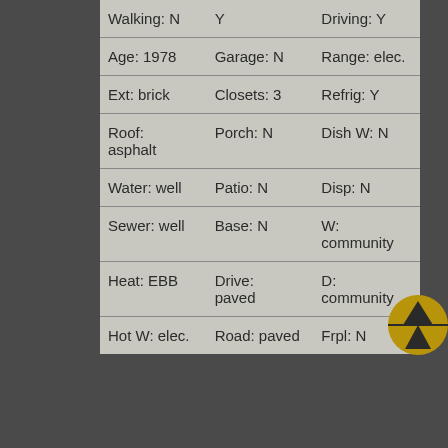| Walking: N | Y | Driving: Y |
| Age: 1978 | Garage: N | Range: elec. |
| Ext: brick | Closets: 3 | Refrig: Y |
| Roof: asphalt | Porch: N | Dish W: N |
| Water: well | Patio: N | Disp: N |
| Sewer: well | Base: N | W: community |
| Heat: EBB | Drive: paved | D: community |
| Hot W: elec. | Road: paved | Frpl: N |
[Figure (logo): Gold and black circular logo with a triangle/arrow shape in the center]